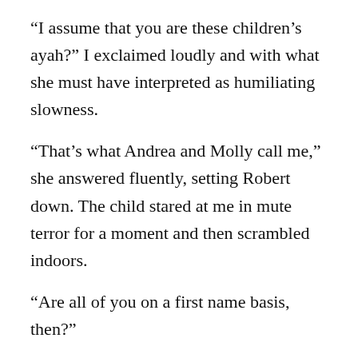“I assume that you are these children’s ayah?” I exclaimed loudly and with what she must have interpreted as humiliating slowness.
“That’s what Andrea and Molly call me,” she answered fluently, setting Robert down. The child stared at me in mute terror for a moment and then scrambled indoors.
“Are all of you on a first name basis, then?”
“Get off your high horse, Maxim,” said Christopher. “Things aren’t so formal around here anymore. The little bug…